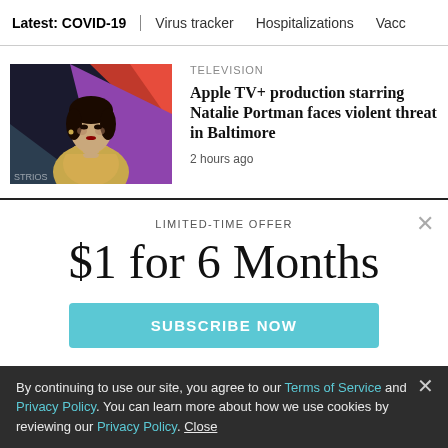Latest: COVID-19 | Virus tracker | Hospitalizations | Vacc
[Figure (photo): Photo of Natalie Portman at a red carpet event, wearing a gold sequined dress, dark hair up, against a colorful backdrop.]
TELEVISION
Apple TV+ production starring Natalie Portman faces violent threat in Baltimore
2 hours ago
LIMITED-TIME OFFER
$1 for 6 Months
SUBSCRIBE NOW
By continuing to use our site, you agree to our Terms of Service and Privacy Policy. You can learn more about how we use cookies by reviewing our Privacy Policy. Close